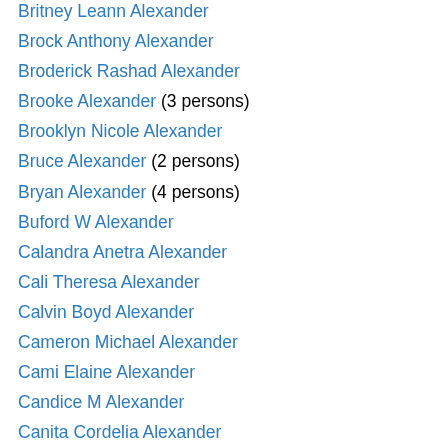Britney Leann Alexander
Brock Anthony Alexander
Broderick Rashad Alexander
Brooke Alexander (3 persons)
Brooklyn Nicole Alexander
Bruce Alexander (2 persons)
Bryan Alexander (4 persons)
Buford W Alexander
Calandra Anetra Alexander
Cali Theresa Alexander
Calvin Boyd Alexander
Cameron Michael Alexander
Cami Elaine Alexander
Candice M Alexander
Canita Cordelia Alexander
Carey Alexander
Carita Quinn Alexander
Carl Alexander (3 persons)